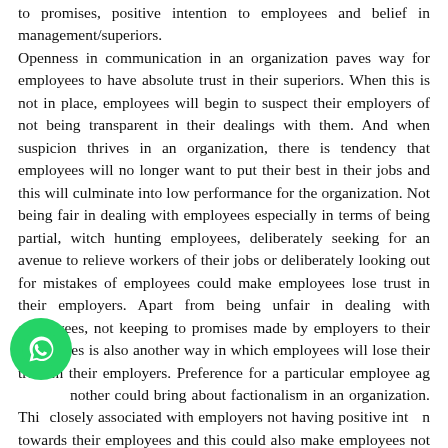to promises, positive intention to employees and belief in management/superiors. Openness in communication in an organization paves way for employees to have absolute trust in their superiors. When this is not in place, employees will begin to suspect their employers of not being transparent in their dealings with them. And when suspicion thrives in an organization, there is tendency that employees will no longer want to put their best in their jobs and this will culminate into low performance for the organization. Not being fair in dealing with employees especially in terms of being partial, witch hunting employees, deliberately seeking for an avenue to relieve workers of their jobs or deliberately looking out for mistakes of employees could make employees lose trust in their employers. Apart from being unfair in dealing with employees, not keeping to promises made by employers to their employees is also another way in which employees will lose their trust in their employers. Preference for a particular employee against another could bring about factionalism in an organization. This is closely associated with employers not having positive intention towards their employees and this could also make employees not to have faith or belief in the management of the